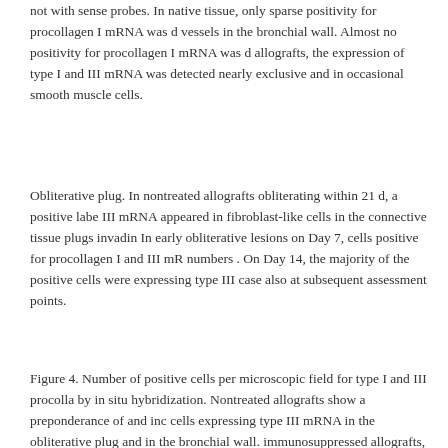not with sense probes. In native tissue, only sparse positivity for procollagen I mRNA was detected in vessels in the bronchial wall. Almost no positivity for procollagen I mRNA was detected in allografts, the expression of type I and III mRNA was detected nearly exclusively and in occasional smooth muscle cells.
Obliterative plug. In nontreated allografts obliterating within 21 d, a positive labeling for type III mRNA appeared in fibroblast-like cells in the connective tissue plugs invading the lumen. In early obliterative lesions on Day 7, cells positive for procollagen I and III mRNA were few in numbers . On Day 14, the majority of the positive cells were expressing type III mRNA, as was the case also at subsequent assessment points.
Figure 4. Number of positive cells per microscopic field for type I and III procollagen mRNA detected by in situ hybridization. Nontreated allografts show a preponderance of and increasing number of cells expressing type III mRNA in the obliterative plug and in the bronchial wall. In immunosuppressed allografts, no similar trend occurs between the numbers of type I and type III procollagen mRNA-positive cells in the bronchial wall. Cells were counted at ×100 magnification in five microscopic fields. All data expressed as mean + SEM, n =